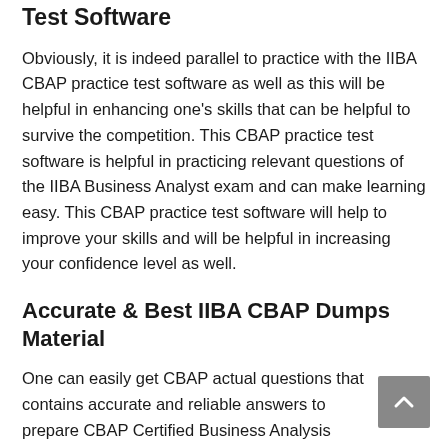Test Software
Obviously, it is indeed parallel to practice with the IIBA CBAP practice test software as well as this will be helpful in enhancing one’s skills that can be helpful to survive the competition. This CBAP practice test software is helpful in practicing relevant questions of the IIBA Business Analyst exam and can make learning easy. This CBAP practice test software will help to improve your skills and will be helpful in increasing your confidence level as well.
Accurate & Best IIBA CBAP Dumps Material
One can easily get CBAP actual questions that contains accurate and reliable answers to prepare CBAP Certified Business Analysis Professional exam. QualityDumps only offers